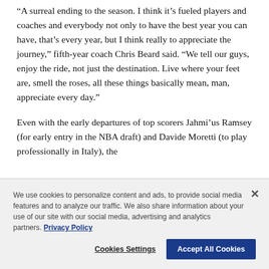“A surreal ending to the season. I think it’s fueled players and coaches and everybody not only to have the best year you can have, that’s every year, but I think really to appreciate the journey,” fifth-year coach Chris Beard said. “We tell our guys, enjoy the ride, not just the destination. Live where your feet are, smell the roses, all these things basically mean, man, appreciate every day.”
Even with the early departures of top scorers Jahmi’us Ramsey (for early entry in the NBA draft) and Davide Moretti (to play professionally in Italy), the
We use cookies to personalize content and ads, to provide social media features and to analyze our traffic. We also share information about your use of our site with our social media, advertising and analytics partners. Privacy Policy